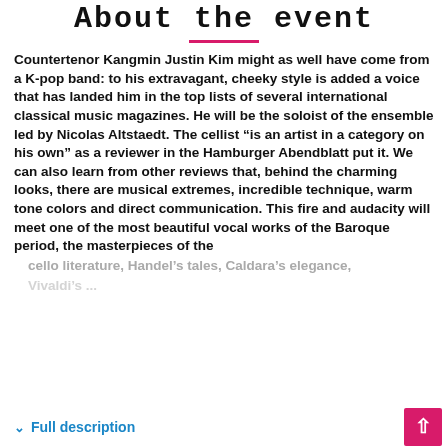About the event
Countertenor Kangmin Justin Kim might as well have come from a K-pop band: to his extravagant, cheeky style is added a voice that has landed him in the top lists of several international classical music magazines. He will be the soloist of the ensemble led by Nicolas Altstaedt. The cellist “is an artist in a category on his own” as a reviewer in the Hamburger Abendblatt put it. We can also learn from other reviews that, behind the charming looks, there are musical extremes, incredible technique, warm tone colors and direct communication. This fire and audacity will meet one of the most beautiful vocal works of the Baroque period, the masterpieces of the cello literature, Handel’s tales, Caldara’s elegance, Vivaldi’s...
∨  Full description